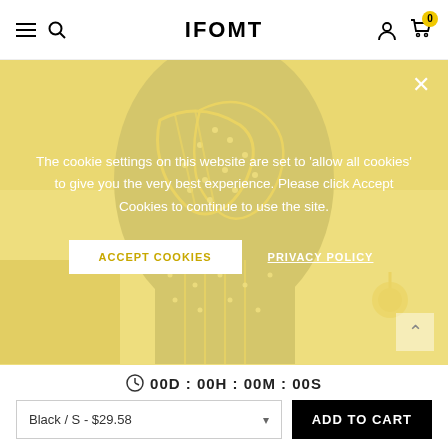IFOMT
[Figure (photo): Close-up photo of a navy blue patterned garment with gold chain print and white dot pattern, laid on a white surface]
The cookie settings on this website are set to 'allow all cookies' to give you the very best experience. Please click Accept Cookies to continue to use the site.
ACCEPT COOKIES   PRIVACY POLICY
00D : 00H : 00M : 00S
Black / S - $29.58   ADD TO CART